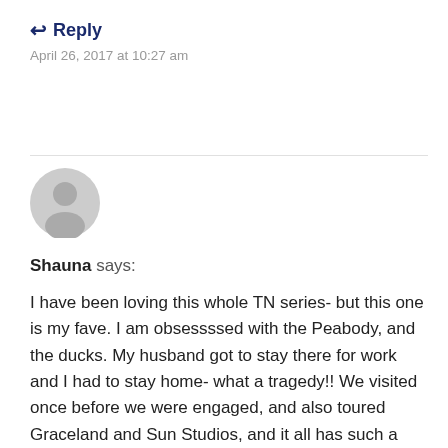↩ Reply
April 26, 2017 at 10:27 am
[Figure (illustration): Generic grey user avatar icon — silhouette of a person's head and shoulders inside a circle]
Shauna says:
I have been loving this whole TN series- but this one is my fave. I am obsessssed with the Peabody, and the ducks. My husband got to stay there for work and I had to stay home- what a tragedy!! We visited once before we were engaged, and also toured Graceland and Sun Studios, and it all has such a special place in my heart. I can't wait to go again. (As an aside, I'd love to know more about how you partnered with Tennessee as a blogger